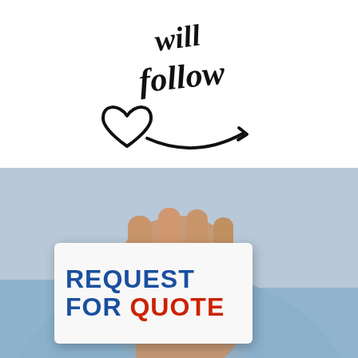[Figure (illustration): Handwritten script text reading 'will follow' with a hand-drawn heart and curved arrow beneath, in black ink on white background]
[Figure (photo): A person in a light blue shirt holding up a white card that reads 'REQUEST FOR QUOTE' in bold blue and red text, with 'REQUEST' and 'FOR' in blue and 'QUOTE' in red]